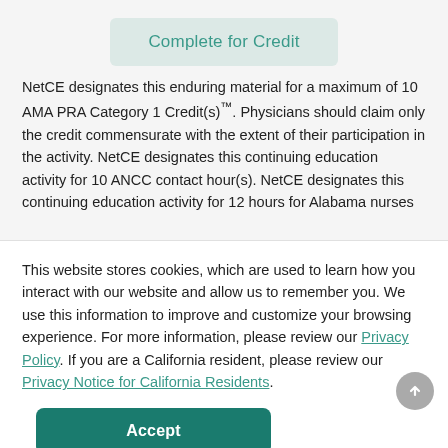Complete for Credit
NetCE designates this enduring material for a maximum of 10 AMA PRA Category 1 Credit(s)™. Physicians should claim only the credit commensurate with the extent of their participation in the activity. NetCE designates this continuing education activity for 10 ANCC contact hour(s). NetCE designates this continuing education activity for 12 hours for Alabama nurses
This website stores cookies, which are used to learn how you interact with our website and allow us to remember you. We use this information to improve and customize your browsing experience. For more information, please review our Privacy Policy. If you are a California resident, please review our Privacy Notice for California Residents.
icipant
nal
am.
of
DC
share